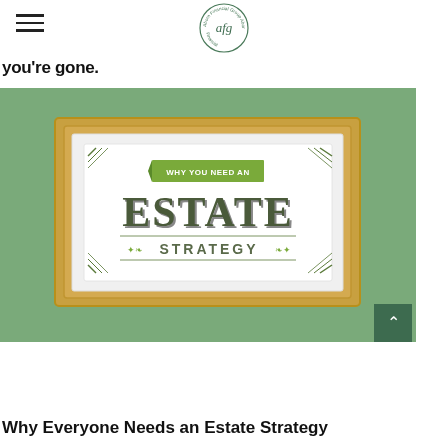afg (Aborn Financial Group logo)
you're gone.
[Figure (illustration): A framed decorative sign on a green wall reading 'WHY YOU NEED AN ESTATE STRATEGY' in ornate vintage typography with green leaf decorations and a gold frame.]
Why Everyone Needs an Estate Strategy